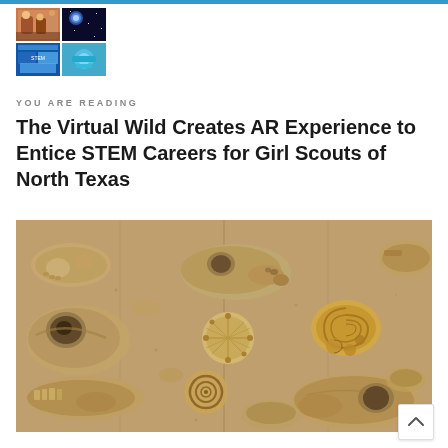[Figure (photo): Small thumbnail grid of four images at top left: people/children, space/galaxy, colorful digital displays]
YOU ARE READING
The Virtual Wild Creates AR Experience to Entice STEM Careers for Girl Scouts of North Texas
[Figure (photo): Close-up photograph of multiple fossil imprints and shell specimens laid out on a sandy/clay surface, including spiral shells, ammonites, and bone fragments]